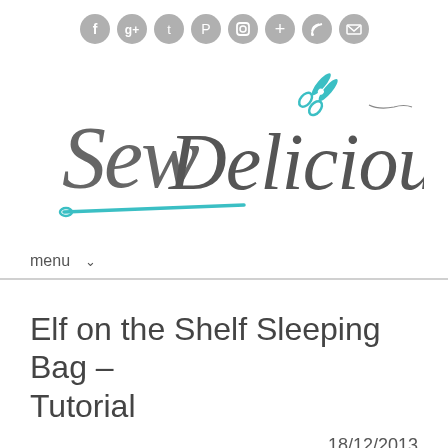Social media icons: Facebook, Google+, Twitter, Pinterest, Instagram, Add, RSS, Email
[Figure (logo): SewDelicious blog logo in cursive handwritten script with teal scissors and needle accents]
menu ∨
Elf on the Shelf Sleeping Bag – Tutorial
18/12/2013
I was quite excited to share this with you as it is...